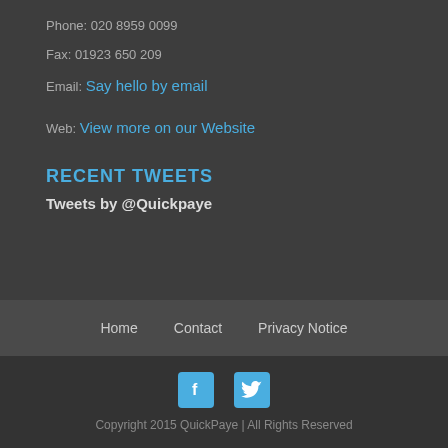Phone: 020 8959 0099
Fax: 01923 650 209
Email: Say hello by email
Web: View more on our Website
RECENT TWEETS
Tweets by @Quickpaye
Home   Contact   Privacy Notice
[Figure (other): Facebook and Twitter social media icons in blue]
Copyright 2015 QuickPaye | All Rights Reserved